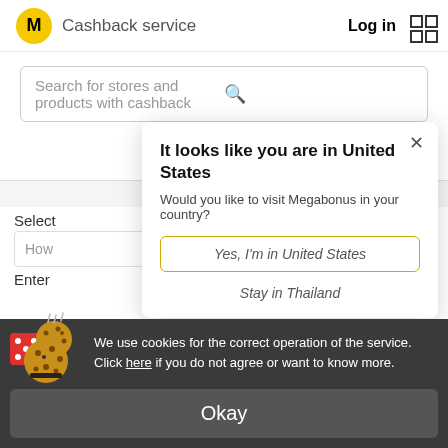M Cashback service   Log in
Search for stores and products with cashback
Thailand, EN
Select
How
Enter
It looks like you are in United States
Would you like to visit Megabonus in your country?
Yes, I'm in United States
Stay in Thailand
We use cookies for the correct operation of the service. Click here if you do not agree or want to know more.
Okay